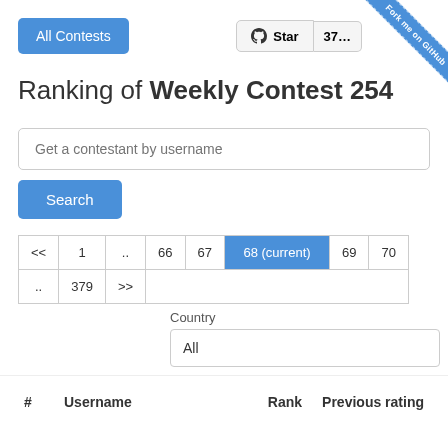[Figure (screenshot): All Contests button (blue), GitHub Star button, and Fork me on GitHub ribbon in top bar]
Ranking of Weekly Contest 254
[Figure (screenshot): Search input field with placeholder 'Get a contestant by username' and blue Search button]
| << | 1 | .. | 66 | 67 | 68 (current) | 69 | 70 |
| .. | 379 | >> |
Country
All
| # | Username | Rank | Previous rating |
| --- | --- | --- | --- |